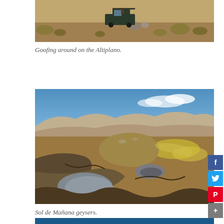[Figure (photo): A vehicle (truck/SUV) parked on the Altiplano high plateau, with sparse desert vegetation and rocks in the background]
Goofing around on the Altiplano.
[Figure (photo): Sol de Mañana geysers in Bolivia — volcanic geothermal landscape with bubbling mud pools, mineral deposits in yellows and browns, rocky terrain, and blue sky with clouds in the background]
Sol de Mañana geysers.